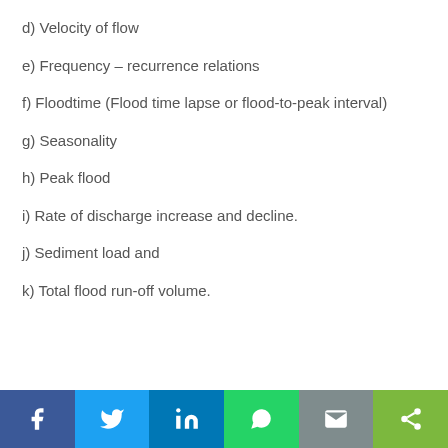d) Velocity of flow
e) Frequency – recurrence relations
f) Floodtime (Flood time lapse or flood-to-peak interval)
g) Seasonality
h) Peak flood
i) Rate of discharge increase and decline.
j) Sediment load and
k) Total flood run-off volume.